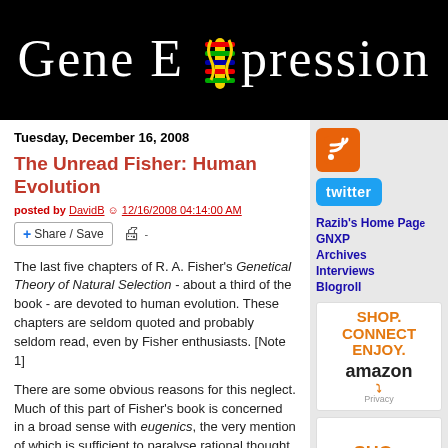Gene Expression
Tuesday, December 16, 2008
The Unread Fisher: Human Evolution
posted by DavidB @ 12/16/2008 04:14:00 AM
[Figure (other): Share/Save button and print icon]
The last five chapters of R. A. Fisher's Genetical Theory of Natural Selection - about a third of the book - are devoted to human evolution. These chapters are seldom quoted and probably seldom read, even by Fisher enthusiasts. [Note 1]
There are some obvious reasons for this neglect. Much of this part of Fisher's book is concerned in a broad sense with eugenics, the very mention of which is sufficient to paralyse rational thought in some quarters. But even for those who are not scared of the e-word, there would be reasons for disregarding these chapters. The evidence on which Fisher relies is thin and out-of-date. His evidence on the heritability of human fertility, which
[Figure (logo): RSS feed orange button]
[Figure (logo): Twitter blue button]
Razib's Home Page
GNXP
Archives
Interviews
Blogroll
[Figure (other): Amazon advertisement: SHOP. CONNECT. ENJOY. amazon Privacy]
[Figure (other): Amazon advertisement: SHOP.]